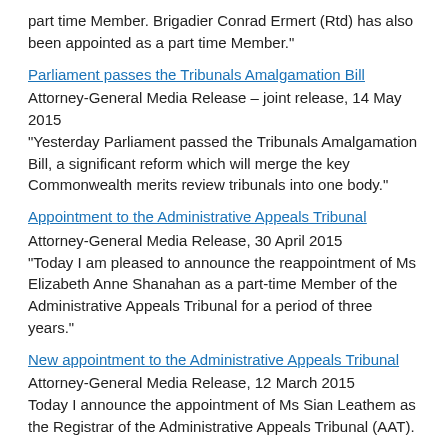part time Member. Brigadier Conrad Ermert (Rtd) has also been appointed as a part time Member."
Parliament passes the Tribunals Amalgamation Bill
Attorney-General Media Release – joint release, 14 May 2015
"Yesterday Parliament passed the Tribunals Amalgamation Bill, a significant reform which will merge the key Commonwealth merits review tribunals into one body."
Appointment to the Administrative Appeals Tribunal
Attorney-General Media Release, 30 April 2015
"Today I am pleased to announce the reappointment of Ms Elizabeth Anne Shanahan as a part-time Member of the Administrative Appeals Tribunal for a period of three years."
New appointment to the Administrative Appeals Tribunal
Attorney-General Media Release, 12 March 2015
Today I announce the appointment of Ms Sian Leathem as the Registrar of the Administrative Appeals Tribunal (AAT).
Return to top of page
2014